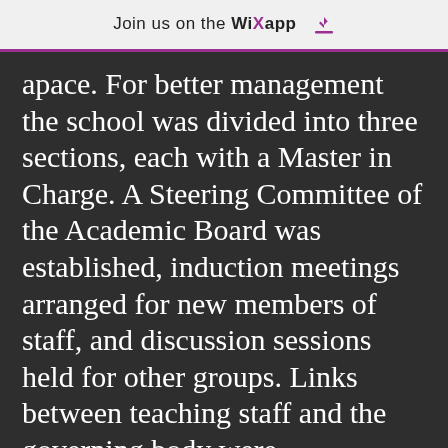Join us on the WiX app
apace. For better management the school was divided into three sections, each with a Master in Charge. A Steering Committee of the Academic Board was established, induction meetings arranged for new members of staff, and discussion sessions held for other groups. Links between teaching staff and the governing body were strengthened and formalised. Conditions of